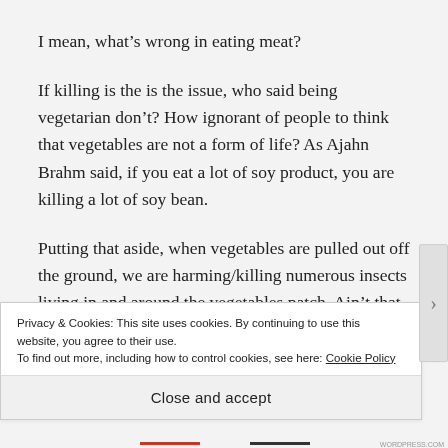I mean, what’s wrong in eating meat?
If killing is the is the issue, who said being vegetarian don’t? How ignorant of people to think that vegetables are not a form of life? As Ajahn Brahm said, if you eat a lot of soy product, you are killing a lot of soy bean.
Putting that aside, when vegetables are pulled out off the ground, we are harming/killing numerous insects living in and around the vegetables patch. Ain’t that
Privacy & Cookies: This site uses cookies. By continuing to use this website, you agree to their use.
To find out more, including how to control cookies, see here: Cookie Policy
Close and accept